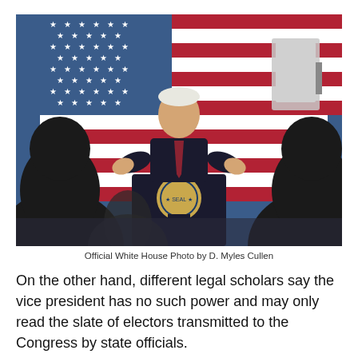[Figure (photo): A man in a suit (Vice President Mike Pence) speaking at a podium with the Vice Presidential seal, in front of an American flag backdrop, with silhouettes of audience members in the foreground.]
Official White House Photo by D. Myles Cullen
On the other hand, different legal scholars say the vice president has no such power and may only read the slate of electors transmitted to the Congress by state officials.
GIVE TO THE WIZ! Your donations help spread the truth by keeping content like this free and accessible, especially for those who would benefit most.